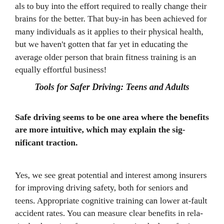als to buy into the effort required to really change their brains for the better. That buy-in has been achieved for many individuals as it applies to their physical health, but we haven't gotten that far yet in educating the average older person that brain fitness training is an equally effortful business!
Tools for Safer Driving: Teens and Adults
Safe driving seems to be one area where the benefits are more intuitive, which may explain the significant traction.
Yes, we see great potential and interest among insurers for improving driving safety, both for seniors and teens. Appropriate cognitive training can lower at-fault accident rates. You can measure clear benefits in rela-tively short time frames, so it won't take long for insur-